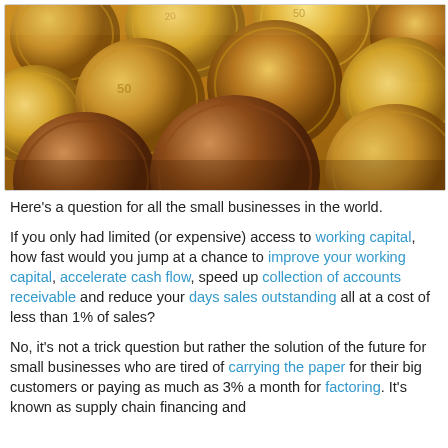[Figure (photo): Close-up photo of multiple gold and copper coins piled together, with warm amber/golden tones]
Here's a question for all the small businesses in the world.
If you only had limited (or expensive) access to working capital, how fast would you jump at a chance to improve your working capital, accelerate cash flow, speed up collection of accounts receivable and reduce your days sales outstanding all at a cost of less than 1% of sales?
No, it's not a trick question but rather the solution of the future for small businesses who are tired of carrying the paper for their big customers or paying as much as 3% a month for factoring. It's known as supply chain financing and